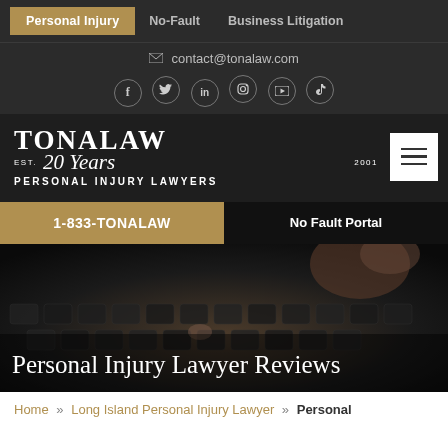Personal Injury | No-Fault | Business Litigation
contact@tonalaw.com
[Figure (other): Social media icons: Facebook, Twitter, LinkedIn, Instagram, YouTube, TikTok]
[Figure (logo): TonáLaw logo — EST. 20 Years 2001 — PERSONAL INJURY LAWYERS]
1-833-TONALAW | No Fault Portal
Personal Injury Lawyer Reviews
Home » Long Island Personal Injury Lawyer » Personal